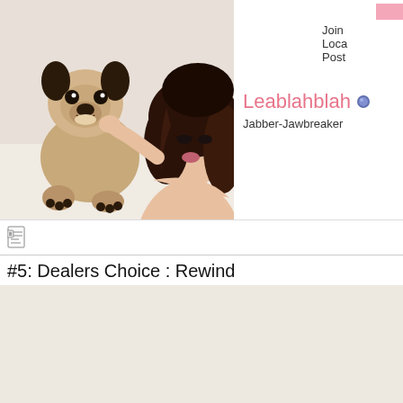[Figure (photo): A woman kissing a French Bulldog puppy on the head; the puppy sits facing forward while the woman with dark curly hair leans in from the right side.]
Leablahblah
Jabber-Jawbreaker
Join
Loca
Post
[Figure (other): Small document/list icon]
#5: Dealers Choice : Rewind
[Figure (other): Beige/cream colored content area, largely empty]